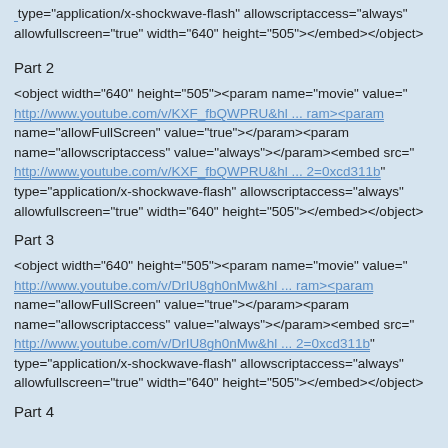type="application/x-shockwave-flash" allowscriptaccess="always" allowfullscreen="true" width="640" height="505"></embed></object>
Part 2
<object width="640" height="505"><param name="movie" value=" http://www.youtube.com/v/KXF_fbQWPRU&hl ... ram><param name="allowFullScreen" value="true"></param><param name="allowscriptaccess" value="always"></param><embed src=" http://www.youtube.com/v/KXF_fbQWPRU&hl ... 2=0xcd311b" type="application/x-shockwave-flash" allowscriptaccess="always" allowfullscreen="true" width="640" height="505"></embed></object>
Part 3
<object width="640" height="505"><param name="movie" value=" http://www.youtube.com/v/DrIU8gh0nMw&hl ... ram><param name="allowFullScreen" value="true"></param><param name="allowscriptaccess" value="always"></param><embed src=" http://www.youtube.com/v/DrIU8gh0nMw&hl ... 2=0xcd311b" type="application/x-shockwave-flash" allowscriptaccess="always" allowfullscreen="true" width="640" height="505"></embed></object>
Part 4